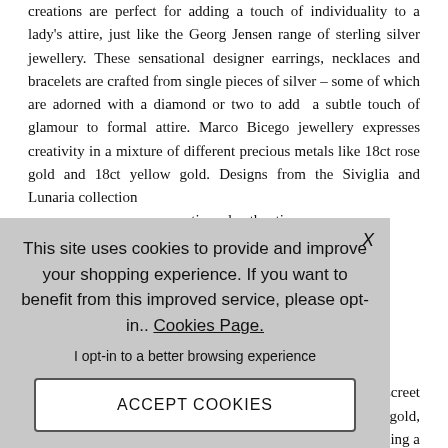creations are perfect for adding a touch of individuality to a lady's attire, just like the Georg Jensen range of sterling silver jewellery. These sensational designer earrings, necklaces and bracelets are crafted from single pieces of silver – some of which are adorned with a diamond or two to add a subtle touch of glamour to formal attire. Marco Bicego jewellery expresses creativity in a mixture of different precious metals like 18ct rose gold and 18ct yellow gold. Designs from the Siviglia and Lunaria collection stic and authentic, bbled streets and noving diamonds" an inner, discreet gold or rose gold, own, performing a he light. Italian and bracelets are rtable mesh Flex'It e great for styling ovative "roll on roll
This site uses cookies to provide and improve your shopping experience. If you want to benefit from this improved service, please opt-in.. Cookies Page.

I opt-in to a better browsing experience

ACCEPT COOKIES